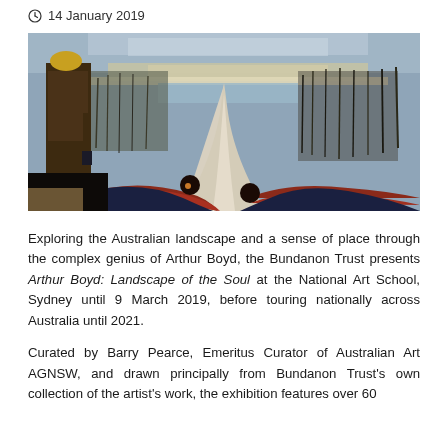14 January 2019
[Figure (photo): A painting by Arthur Boyd depicting an Australian landscape scene with figures reclining in the foreground, a winding path or river leading through sparse trees toward a distant horizon under a grey sky.]
Exploring the Australian landscape and a sense of place through the complex genius of Arthur Boyd, the Bundanon Trust presents Arthur Boyd: Landscape of the Soul at the National Art School, Sydney until 9 March 2019, before touring nationally across Australia until 2021.
Curated by Barry Pearce, Emeritus Curator of Australian Art AGNSW, and drawn principally from Bundanon Trust's own collection of the artist's work, the exhibition features over 60